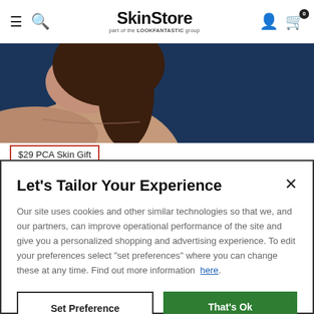SkinStore — part of the LOOKFANTASTIC group
[Figure (photo): Partial view of a woman's neck and shoulder against a dark blue background with text 'prevents future acne breakouts' visible in the upper right]
$29 PCA Skin Gift
Let's Tailor Your Experience
Our site uses cookies and other similar technologies so that we, and our partners, can improve operational performance of the site and give you a personalized shopping and advertising experience. To edit your preferences select "set preferences" where you can change these at any time. Find out more information here.
Set Preference
That's Ok